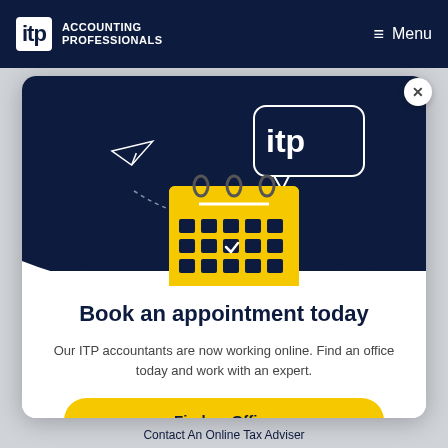itp ACCOUNTING PROFESSIONALS
[Figure (illustration): ITP Accounting Professionals logo and navigation menu with hamburger icon and 'Menu' label on dark navy background]
[Figure (illustration): Modal overlay card with dark navy top section showing a calendar illustration with checkmark, paper airplane, and ITP speech bubble logo. White bottom section with appointment booking content.]
Book an appointment today
Our ITP accountants are now working online. Find an office today and work with an expert.
Find an Office
Contact An Online Tax Adviser